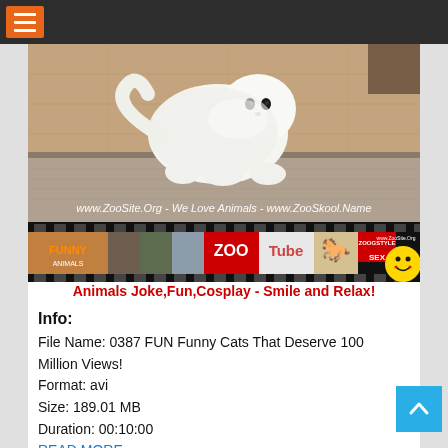Navigation bar with hamburger menu
[Figure (photo): White fluffy cat crouching/creeping on a wooden floor with a rug, watermark text reading 'www.ZooSite.Org - We Love Animals - www.ZooSkool.Name']
[Figure (screenshot): ZooTube banner with animal images, film strip, ZOO Tube logo in red/white, ZOOGSTYLE SEX text, horse, smiley face, FUNNY ANIMALS logo, and text 'Animals Joke,Fun,Cosplay - Smile and Relax!']
Info:
File Name: 0387 FUN Funny Cats That Deserve 100 Million Views!
Format: avi
Size: 189.01 MB
Duration: 00:10:00
READ MORE...